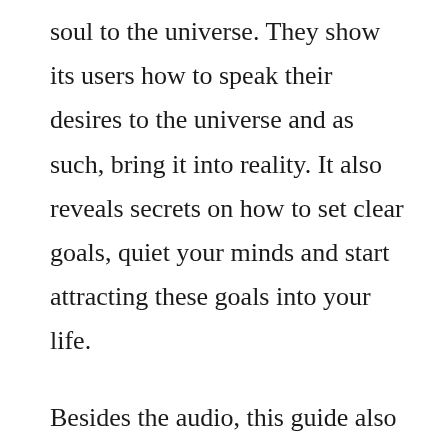soul to the universe. They show its users how to speak their desires to the universe and as such, bring it into reality. It also reveals secrets on how to set clear goals, quiet your minds and start attracting these goals into your life.
Besides the audio, this guide also comes with an abundance mindset ebook. This ebook reveals secrets to manifestation of your desire and showing you how to turn obstacles into opportunities in your life. This quick-start